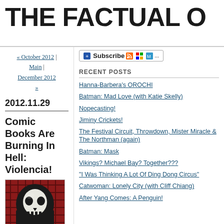THE FACTUAL O
« October 2012 | Main | December 2012 »
2012.11.29
Comic Books Are Burning In Hell: Violencia!
[Figure (photo): A Punisher skull helmet/decoration on a plaid background]
[Figure (other): Subscribe bar with RSS, Windows, and MyYahoo feed icons]
RECENT POSTS
Hanna-Barbera's OROCHI
Batman: Mad Love (with Katie Skelly)
Nopecasting!
Jiminy Crickets!
The Festival Circuit, Throwdown, Mister Miracle & The Northman (again)
Batman: Mask
Vikings? Michael Bay? Together???
"I Was Thinking A Lot Of Ding Dong Circus"
Catwoman: Lonely City (with Cliff Chiang)
After Yang Comes: A Penguin!